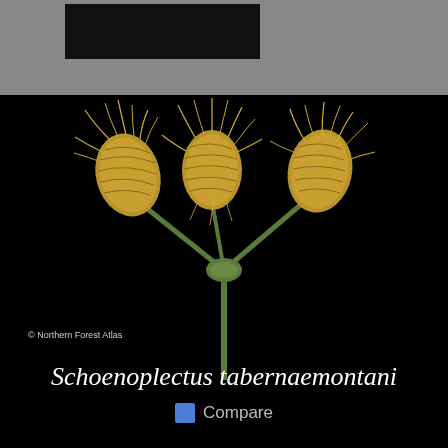[Figure (photo): Close-up photograph of three Schoenoplectus tabernaemontani seed heads (spikelets) arranged in a V/fan shape against a black background, showing golden-brown scaly textures with fibrous bristles, on green stems. © Northern Forest Atlas watermark visible in lower left.]
Schoenoplectus tabernaemontani
Compare